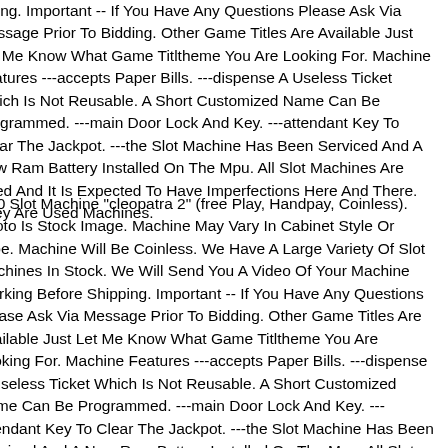ipping. Important -- If You Have Any Questions Please Ask Via Message Prior To Bidding. Other Game Titles Are Available Just Let Me Know What Game Titltheme You Are Looking For. Machine Features ---accepts Paper Bills. ---dispense A Useless Ticket Which Is Not Reusable. A Short Customized Name Can Be Programmed. ---main Door Lock And Key. ---attendant Key To Clear The Jackpot. ---the Slot Machine Has Been Serviced And A New Ram Battery Installed On The Mpu. All Slot Machines Are Used And It Is Expected To Have Imperfections Here And There. They Are Used Machines.
G20 Slot Machine "cleopatra 2" (free Play, Handpay, Coinless). Photo Is Stock Image. Machine May Vary In Cabinet Style Or Type. Machine Will Be Coinless. We Have A Large Variety Of Slot Machines In Stock. We Will Send You A Video Of Your Machine Working Before Shipping. Important -- If You Have Any Questions Please Ask Via Message Prior To Bidding. Other Game Titles Are Available Just Let Me Know What Game Titltheme You Are Looking For. Machine Features ---accepts Paper Bills. ---dispense A Useless Ticket Which Is Not Reusable. A Short Customized Name Can Be Programmed. ---main Door Lock And Key. ---attendant Key To Clear The Jackpot. ---the Slot Machine Has Been Serviced And A New Ram Battery Installed On The Mpu. All Slot Machines Are Used And It Is Expected To Have Imperfections Here And There. They Are Used Machines.